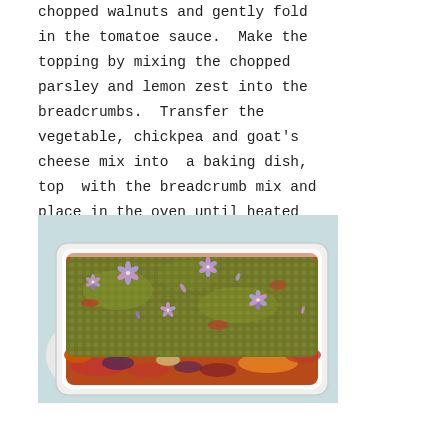chopped walnuts and gently fold in the tomatoe sauce.  Make the topping by mixing the chopped parsley and lemon zest into the breadcrumbs.  Transfer the vegetable, chickpea and goat's cheese mix into  a baking dish, top  with the breadcrumb mix and place in the oven until heated through (approx 20 – 25 minutes).
[Figure (photo): A white rectangular baking dish filled with a vegetable, chickpea and goat's cheese mixture topped with a green herb breadcrumb topping and decorated with purple edible flowers, placed on a light blue surface.]